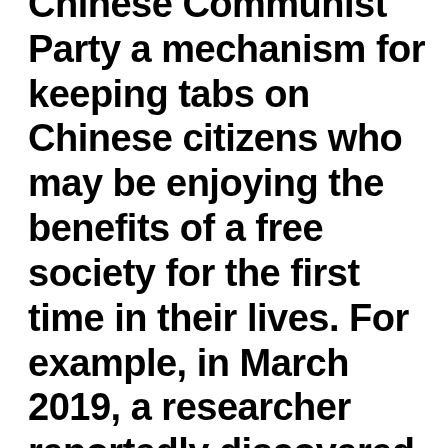Chinese Communist Party a mechanism for keeping tabs on Chinese citizens who may be enjoying the benefits of a free society for the first time in their lives. For example, in March 2019, a researcher reportedly discovered a Chinese database containing billions of WeChat messages sent from users in not only China but also the United